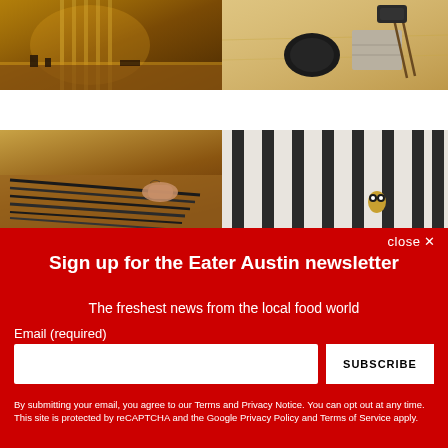[Figure (photo): Interior restaurant photo showing warm-lit wooden bar/counter area with vertical metallic elements]
[Figure (photo): Table setting with chopsticks, black ceramic plate, folded napkin on wooden surface]
[Figure (photo): Close-up of hands arranging Japanese knives on a wooden surface]
[Figure (photo): Minimalist interior with vertical dark panel elements and small decorative object]
Sign up for the Eater Austin newsletter
The freshest news from the local food world
Email (required)
SUBSCRIBE
By submitting your email, you agree to our Terms and Privacy Notice. You can opt out at any time. This site is protected by reCAPTCHA and the Google Privacy Policy and Terms of Service apply.